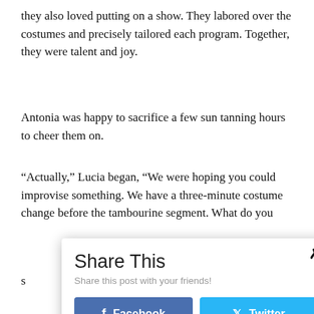they also loved putting on a show. They labored over the costumes and precisely tailored each program. Together, they were talent and joy.
Antonia was happy to sacrifice a few sun tanning hours to cheer them on.
“Actually,” Lucia began, “We were hoping you could improvise something. We have a three-minute costume change before the tambourine segment. What do you s
[Figure (screenshot): Share This modal dialog box with close button (x), subtitle 'Share this post with your friends!', Facebook button (blue), Twitter button (cyan), and Print Friendly button (green).]